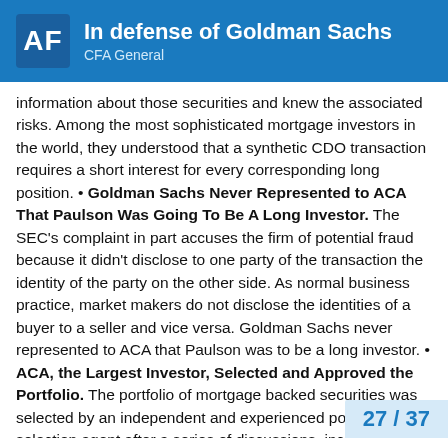AF | In defense of Goldman Sachs | CFA General
information about those securities and knew the associated risks. Among the most sophisticated mortgage investors in the world, they understood that a synthetic CDO transaction requires a short interest for every corresponding long position. • Goldman Sachs Never Represented to ACA That Paulson Was Going To Be A Long Investor. The SEC's complaint in part accuses the firm of potential fraud because it didn't disclose to one party of the transaction the identity of the party on the other side. As normal business practice, market makers do not disclose the identities of a buyer to a seller and vice versa. Goldman Sachs never represented to ACA that Paulson was to be a long investor. • ACA, the Largest Investor, Selected and Approved the Portfolio. The portfolio of mortgage backed securities was selected by an independent and experienced portfolio selection agent after a series of discussions, including with IKB and Paulson & Co. ACA had an obligation and, as by far the largest investor, every incentive to select appropriate securities. Background In 2006, Paulson & ... interest in positioning itself for a decline in...
27 / 37